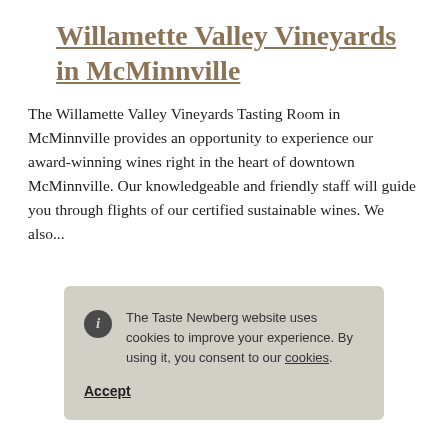Willamette Valley Vineyards in McMinnville
The Willamette Valley Vineyards Tasting Room in McMinnville provides an opportunity to experience our award-winning wines right in the heart of downtown McMinnville. Our knowledgeable and friendly staff will guide you through flights of our certified sustainable wines. We also...
The Taste Newberg website uses cookies to improve your experience. By using it, you consent to our cookies. Accept